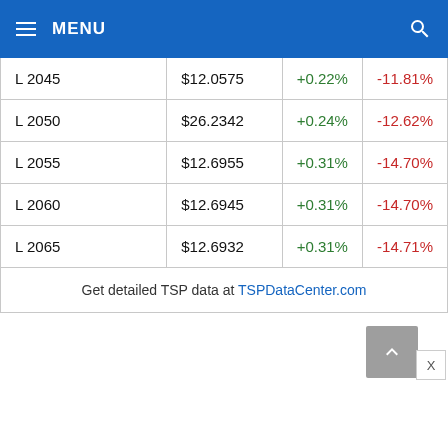MENU
| L 2045 | $12.0575 | +0.22% | -11.81% |
| L 2050 | $26.2342 | +0.24% | -12.62% |
| L 2055 | $12.6955 | +0.31% | -14.70% |
| L 2060 | $12.6945 | +0.31% | -14.70% |
| L 2065 | $12.6932 | +0.31% | -14.71% |
Get detailed TSP data at TSPDataCenter.com